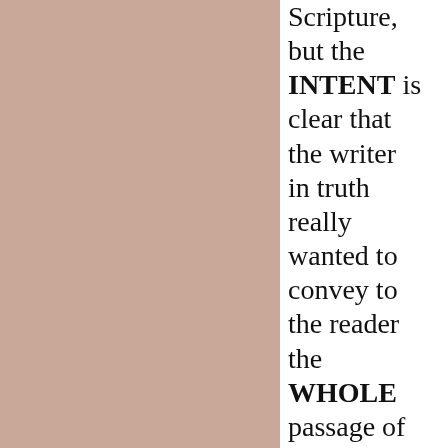[Figure (illustration): Left two-thirds of the page is a solid dusty rose/mauve colored panel.]
Scripture, but the INTENT is clear that the writer in truth really wanted to convey to the reader the WHOLE passage of Scripture.   So let us read